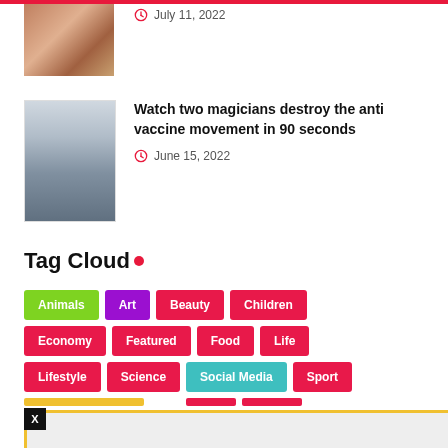[Figure (photo): Partial thumbnail of a hand/foot at top of page]
July 11, 2022
[Figure (photo): Two magicians on stage, one kneeling]
Watch two magicians destroy the anti vaccine movement in 90 seconds
June 15, 2022
Tag Cloud
Animals
Art
Beauty
Children
Economy
Featured
Food
Life
Lifestyle
Science
Social Media
Sport